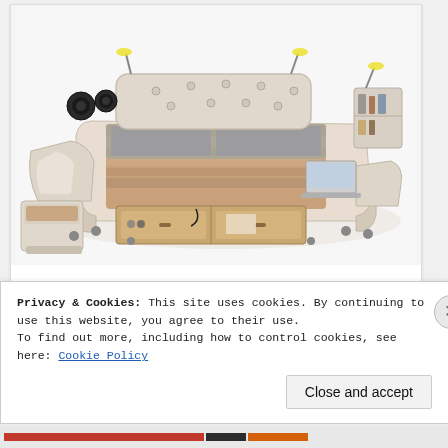[Figure (photo): A luxury multi-function smart bed with cream/beige leather upholstery, featuring built-in speakers, massage chair extension, storage drawers, a laptop stand, reading lights, shelving, and ottomans. The bed is shown at an angle with various components extended.]
You Can Afford These Smart Beds! See Them Now
Smart Bed | Search Ads
Privacy & Cookies: This site uses cookies. By continuing to use this website, you agree to their use.
To find out more, including how to control cookies, see here: Cookie Policy
Close and accept